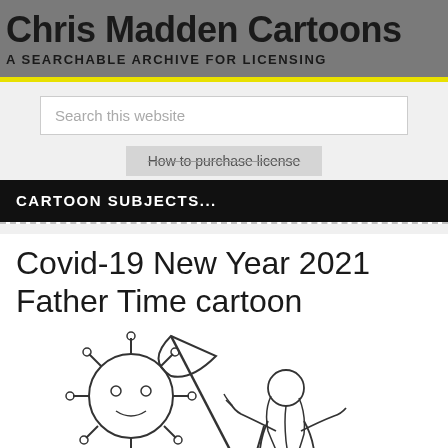Chris Madden Cartoons
A SEARCHABLE ARCHIVE FOR LICENSING
Search this website
How to purchase license
CARTOON SUBJECTS...
Covid-19 New Year 2021 Father Time cartoon
[Figure (illustration): A cartoon illustration showing a Covid-19 virus with a face holding a scythe, and an elderly Father Time figure (labeled 2020) gesturing, with a small figure in the background.]